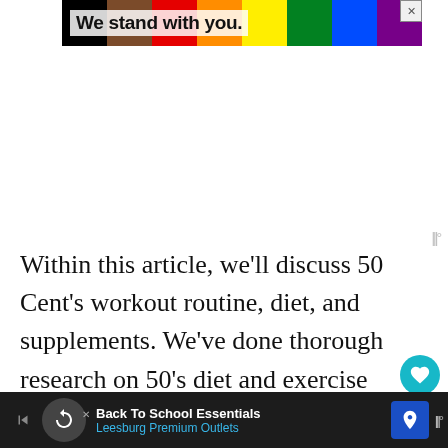[Figure (screenshot): Top advertisement banner with rainbow/pride flag color stripes (black, brown, red, orange, yellow, green, blue, purple) and bold text 'We stand with you.' on white background with close X button]
Within this article, we'll discuss 50 Cent's workout routine, diet, and supplements. We've done thorough research on 50's diet and exercise regime, but this article is not hi…
[Figure (screenshot): Bottom advertisement bar for 'Back To School Essentials – Leesburg Premium Outlets' with dark background, circular icon, and blue navigation arrow icon]